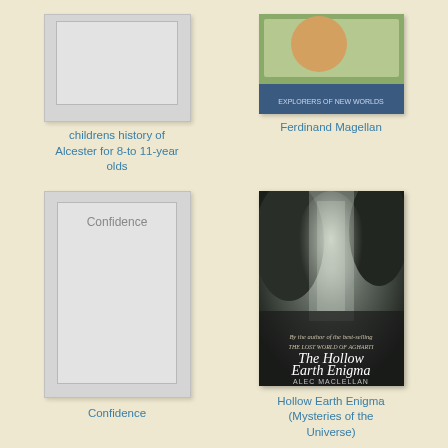[Figure (illustration): Book cover placeholder for childrens history of Alcester, grey rectangle]
childrens history of Alcester for 8-to 11-year olds
[Figure (illustration): Book cover for Ferdinand Magellan, showing map/explorer imagery]
Ferdinand Magellan
[Figure (illustration): Book cover placeholder for Confidence, grey rectangle with text Confidence]
Confidence
[Figure (photo): Book cover for The Hollow Earth Enigma by Alec Maclellan, showing cave/waterfall imagery]
Hollow Earth Enigma (Mysteries of the Universe)
[Figure (illustration): Book cover placeholder with text Royal poet al-marhum Sultan Haji Omar Ali Saifuddien Saadul Khairi Waddien]
[Figure (illustration): Book cover placeholder with text Liquid crystals XII]